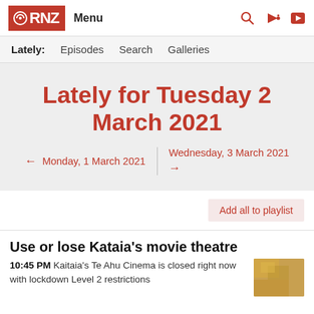RNZ Menu
Lately: Episodes Search Galleries
Lately for Tuesday 2 March 2021
← Monday, 1 March 2021 | Wednesday, 3 March 2021 →
Add all to playlist
Use or lose Kataia's movie theatre
10:45 PM Kaitaia's Te Ahu Cinema is closed right now with lockdown Level 2 restrictions